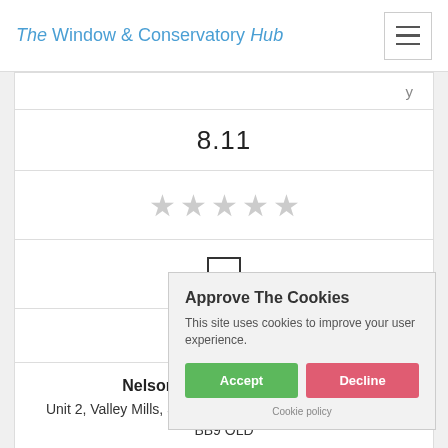The Window & Conservatory Hub
8.11
[Figure (other): 5 empty star rating icons]
[Figure (other): Empty checkbox]
Get a Q...
Nelson Double Glazing Ltd
Unit 2, Valley Mills, Southfield Street, Nelson, Lancashire, BB9 OLD
Approve The Cookies
This site uses cookies to improve your user experience.
Cookie policy